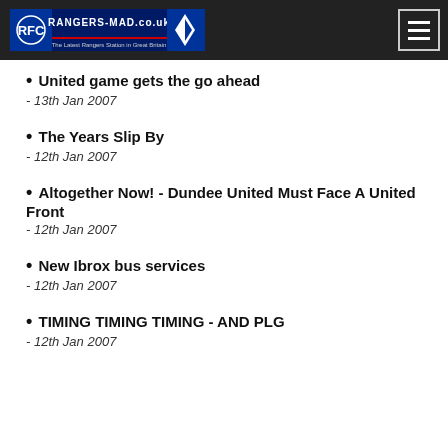RANGERS-MAD.co.uk
United game gets the go ahead - 13th Jan 2007
The Years Slip By - 12th Jan 2007
Altogether Now! - Dundee United Must Face A United Front - 12th Jan 2007
New Ibrox bus services - 12th Jan 2007
TIMING TIMING TIMING - AND PLG - 12th Jan 2007